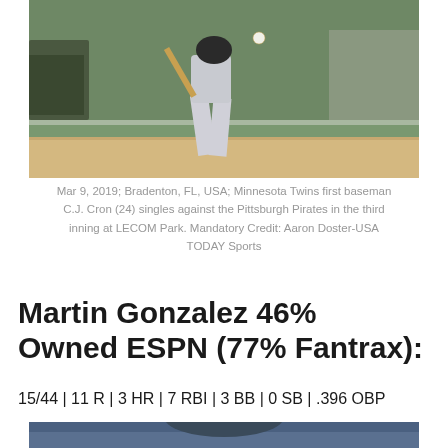[Figure (photo): Baseball player (C.J. Cron, Minnesota Twins first baseman) swinging a bat during a spring training game against the Pittsburgh Pirates at LECOM Park, Bradenton FL, March 9, 2019.]
Mar 9, 2019; Bradenton, FL, USA; Minnesota Twins first baseman C.J. Cron (24) singles against the Pittsburgh Pirates in the third inning at LECOM Park. Mandatory Credit: Aaron Doster-USA TODAY Sports
Martin Gonzalez 46% Owned ESPN (77% Fantrax):
15/44 | 11 R | 3 HR | 7 RBI | 3 BB | 0 SB | .396 OBP
[Figure (photo): Partial view of another baseball player, cropped at the bottom of the page.]